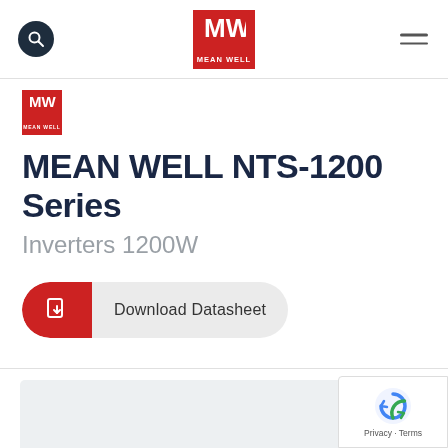MEAN WELL — navigation header with search, logo, and menu
[Figure (logo): MEAN WELL MW logo in red rectangle in page header]
[Figure (logo): Small MEAN WELL MW logo above product title]
MEAN WELL NTS-1200 Series
Inverters 1200W
Download Datasheet